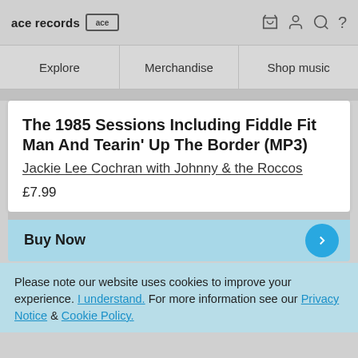ace records [ace logo]
Explore
Merchandise
Shop music
The 1985 Sessions Including Fiddle Fit Man And Tearin' Up The Border (MP3)
Jackie Lee Cochran with Johnny & the Roccos
£7.99
Buy Now
Please note our website uses cookies to improve your experience. I understand. For more information see our Privacy Notice & Cookie Policy.